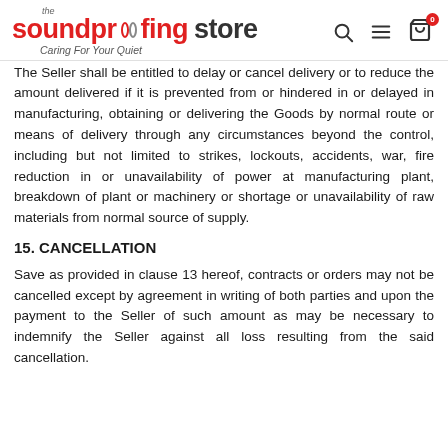the soundproofing store — Caring For Your Quiet
The Seller shall be entitled to delay or cancel delivery or to reduce the amount delivered if it is prevented from or hindered in or delayed in manufacturing, obtaining or delivering the Goods by normal route or means of delivery through any circumstances beyond the control, including but not limited to strikes, lockouts, accidents, war, fire reduction in or unavailability of power at manufacturing plant, breakdown of plant or machinery or shortage or unavailability of raw materials from normal source of supply.
15. CANCELLATION
Save as provided in clause 13 hereof, contracts or orders may not be cancelled except by agreement in writing of both parties and upon the payment to the Seller of such amount as may be necessary to indemnify the Seller against all loss resulting from the said cancellation.